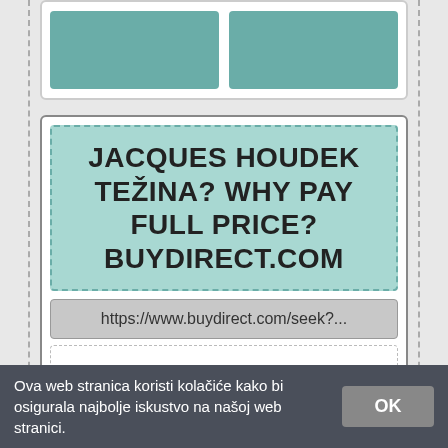[Figure (screenshot): Top portion of a web browser showing two teal/green image thumbnails side by side in a white card]
JACQUES HOUDEK TEŽINA? WHY PAY FULL PRICE? BUYDIRECT.COM
https://www.buydirect.com/seek?...
BuyDirect.com is a shopping search hub for retailers, businesses or smart consumers.
ONLINE
[Figure (screenshot): Two green/teal thumbnails at the bottom of the card]
Ova web stranica koristi kolačiće kako bi osigurala najbolje iskustvo na našoj web stranici.
OK